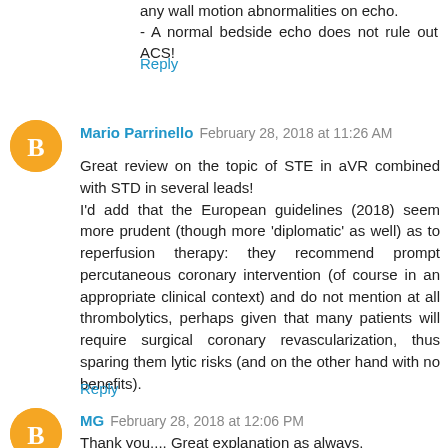any wall motion abnormalities on echo.
- A normal bedside echo does not rule out ACS!
Reply
Mario Parrinello  February 28, 2018 at 11:26 AM
Great review on the topic of STE in aVR combined with STD in several leads!
I'd add that the European guidelines (2018) seem more prudent (though more 'diplomatic' as well) as to reperfusion therapy: they recommend prompt percutaneous coronary intervention (of course in an appropriate clinical context) and do not mention at all thrombolytics, perhaps given that many patients will require surgical coronary revascularization, thus sparing them lytic risks (and on the other hand with no benefits).
Reply
MG  February 28, 2018 at 12:06 PM
Thank you.... Great explanation as always.